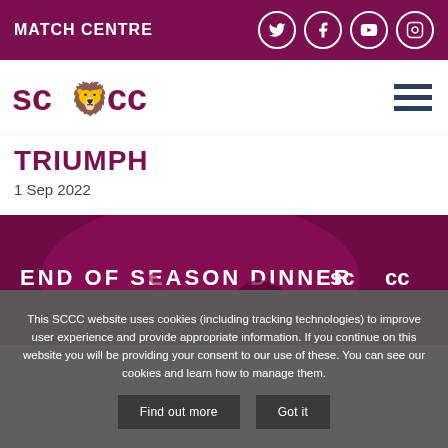MATCH CENTRE
[Figure (logo): SCCC cricket club logo with lion emblem]
TRIUMPH
1 Sep 2022
[Figure (photo): End of Season Dinner banner with SCCC logo and celebrating players on maroon background]
This SCCC website uses cookies (including tracking technologies) to improve user experience and provide appropriate information. If you continue on this website you will be providing your consent to our use of these. You can see our cookies and learn how to manage them.